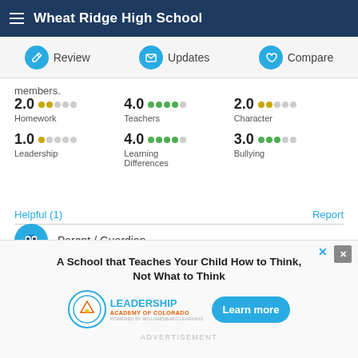Wheat Ridge High School
Review  Updates  Compare
members.
2.0 Homework  4.0 Teachers  2.0 Character  1.0 Leadership  4.0 Learning Differences  3.0 Bullying
Helpful (1)   Report
Parent / Guardian
[Figure (infographic): Advertisement for Leadership Academy of Colorado with Learn more button. Headline: A School that Teaches Your Child How to Think, Not What to Think]